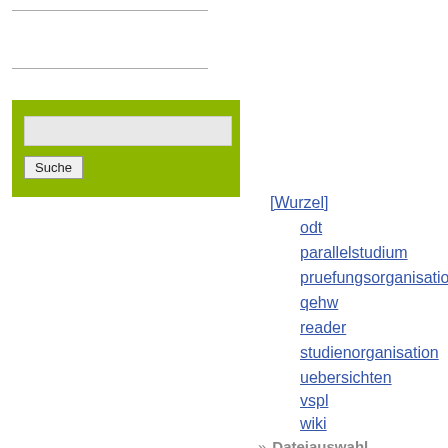[Figure (screenshot): Search box with green background, text input field and 'Suche' button]
[Wurzel]
odt
parallelstudium
pruefungsorganisation
qehw
reader
studienorganisation
uebersichten
vspl
wiki
Dateiauswahl
Hochladen